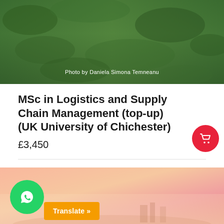[Figure (photo): Aerial photo of green mossy ground/grass with photo credit overlay reading 'Photo by Daniela Simona Temneanu']
Photo by Daniela Simona Temneanu
MSc in Logistics and Supply Chain Management (top-up) (UK University of Chichester)
£3,450
[Figure (photo): Landscape photo with warm pinkish-orange hazy sky, soft gradient background, outdoor scenic view]